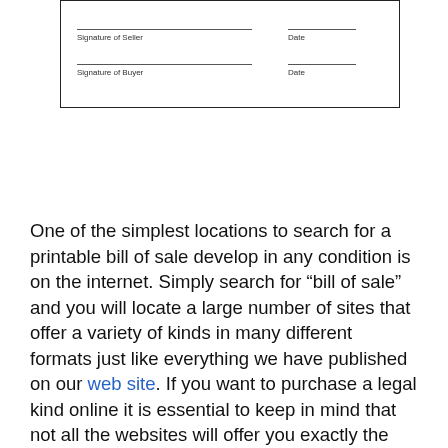[Figure (other): Bottom portion of a bill of sale form showing signature lines for Seller and Buyer with Date fields]
One of the simplest locations to search for a printable bill of sale develop in any condition is on the internet. Simply search for “bill of sale” and you will locate a large number of sites that offer a variety of kinds in many different formats just like everything we have published on our web site. If you want to purchase a legal kind online it is essential to keep in mind that not all the websites will offer you exactly the same stuff, even so. Some could be more affordable.